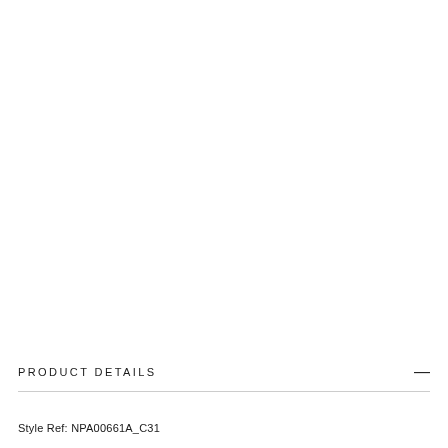PRODUCT DETAILS
Style Ref: NPA00661A_C31